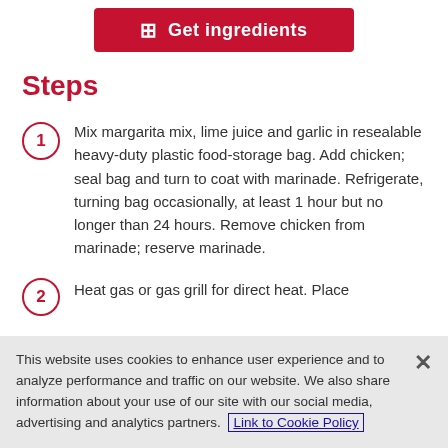[Figure (other): Red 'Get ingredients' button with shopping list icon]
Steps
Mix margarita mix, lime juice and garlic in resealable heavy-duty plastic food-storage bag. Add chicken; seal bag and turn to coat with marinade. Refrigerate, turning bag occasionally, at least 1 hour but no longer than 24 hours. Remove chicken from marinade; reserve marinade.
Heat gas or gas grill for direct heat. Place...
This website uses cookies to enhance user experience and to analyze performance and traffic on our website. We also share information about your use of our site with our social media, advertising and analytics partners. Link to Cookie Policy